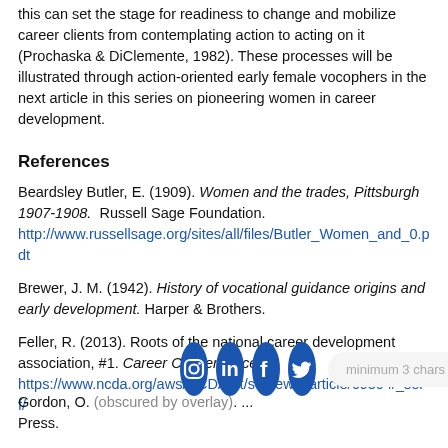this can set the stage for readiness to change and mobilize career clients from contemplating action to acting on it (Prochaska & DiClemente, 1982). These processes will be illustrated through action-oriented early female vocophers in the next article in this series on pioneering women in career development.
References
Beardsley Butler, E. (1909). Women and the trades, Pittsburgh 1907-1908. Russell Sage Foundation. http://www.russellsage.org/sites/all/files/Butler_Women_and_0.pd...
Brewer, J. M. (1942). History of vocational guidance origins and early development. Harper & Brothers.
Feller, R. (2013). Roots of the national career development association, #1. Career Convergence. https://www.ncda.org/aws/NCDA/pt/sd/news_article/69304/_self/...
Gordon, O. ... and ... Press.
[Figure (infographic): Social media icons (Instagram, LinkedIn, Facebook, Twitter) as blue circles overlaid on page, with a search box showing 'minimum 3 chars' and a blue button]